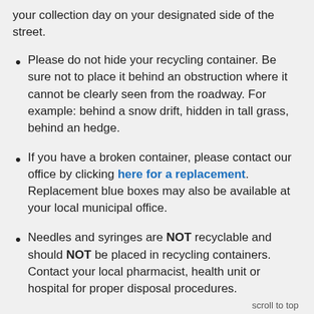your collection day on your designated side of the street.
Please do not hide your recycling container. Be sure not to place it behind an obstruction where it cannot be clearly seen from the roadway. For example: behind a snow drift, hidden in tall grass, behind an hedge.
If you have a broken container, please contact our office by clicking here for a replacement. Replacement blue boxes may also be available at your local municipal office.
Needles and syringes are NOT recyclable and should NOT be placed in recycling containers. Contact your local pharmacist, health unit or hospital for proper disposal procedures.
Please remember that if your collection falls